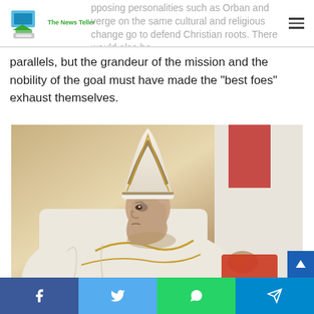The News Teller
pposing personalities such as Orban and verge on the same cultural and religious change go to defend Christian roots. There would also be parallels, but the grandeur of the mission and the nobility of the goal must have made the “best foes” exhaust themselves.
[Figure (photo): Photo of Pope Francis in white papal vestments and mitre, in profile view, appearing to be at a religious ceremony. Another figure in red and white vestments is partially visible to the right.]
Share buttons: Facebook, Twitter, WhatsApp, Telegram